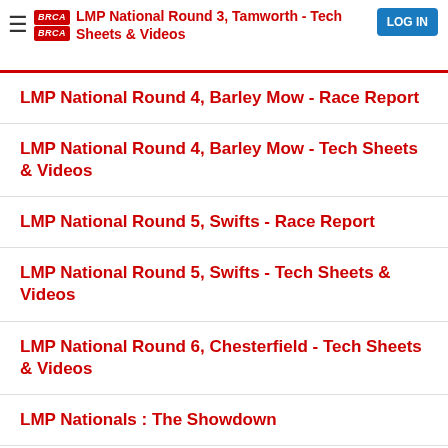LMP National Round 3, Tamworth - Tech Sheets & Videos
LMP National Round 4, Barley Mow - Race Report
LMP National Round 4, Barley Mow - Tech Sheets & Videos
LMP National Round 5, Swifts - Race Report
LMP National Round 5, Swifts - Tech Sheets & Videos
LMP National Round 6, Chesterfield - Tech Sheets & Videos
LMP Nationals : The Showdown
LMP12 Nationals dates for 2016/17